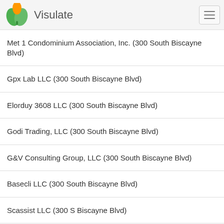Visulate
Met 1 Condominium Association, Inc. (300 South Biscayne Blvd)
Gpx Lab LLC (300 South Biscayne Blvd)
Elorduy 3608 LLC (300 South Biscayne Blvd)
Godi Trading, LLC (300 South Biscayne Blvd)
G&V Consulting Group, LLC (300 South Biscayne Blvd)
Basecli LLC (300 South Biscayne Blvd)
Scassist LLC (300 S Biscayne Blvd)
Met 1-2312, LLC (300 South Biscayne Blvd Unit 2312)
Met 3308 Florida Corp. (300 S Biscayne Blvd Unit 3308)
Dr. Z'S Superior Host, LLC (300 South Biscayne Blvd)